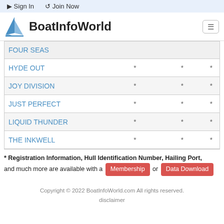Sign In  Join Now
[Figure (logo): BoatInfoWorld logo with sailboat icon]
| Boat Name | * | * | * |
| --- | --- | --- | --- |
| FOUR SEAS |  |  |  |
| HYDE OUT | * | * | * |
| JOY DIVISION | * | * | * |
| JUST PERFECT | * | * | * |
| LIQUID THUNDER | * | * | * |
| THE INKWELL | * | * | * |
* Registration Information, Hull Identification Number, Hailing Port, and much more are available with a Membership or Data Download
Copyright © 2022 BoatInfoWorld.com All rights reserved. disclaimer